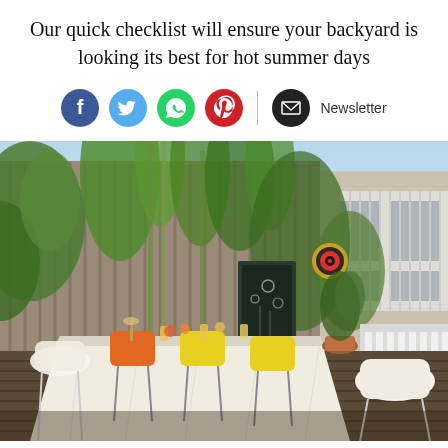Our quick checklist will ensure your backyard is looking its best for hot summer days
[Figure (infographic): Social media sharing icons: Facebook (blue), Twitter (light blue), WhatsApp (green), Pinterest (red), and an email/newsletter button (black) with label 'Newsletter']
[Figure (photo): A modern outdoor deck/patio with a long dining table set with white tablecloth, colorful chairs (orange, yellow, white wire chairs), surrounded by bamboo plants and wooden fence panels, with a white railing deck visible in background, under a clear blue sky.]